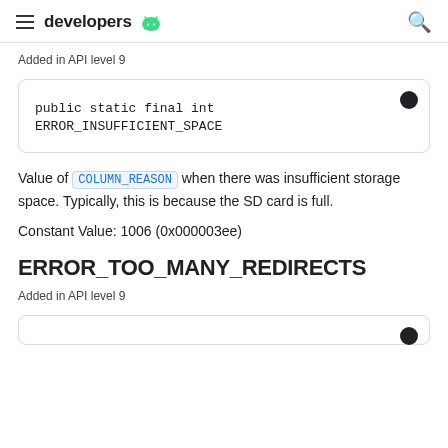developers
Added in API level 9
public static final int ERROR_INSUFFICIENT_SPACE
Value of COLUMN_REASON when there was insufficient storage space. Typically, this is because the SD card is full.
Constant Value: 1006 (0x000003ee)
ERROR_TOO_MANY_REDIRECTS
Added in API level 9